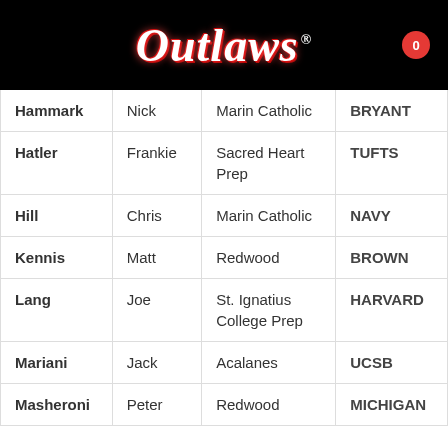[Figure (logo): Outlaws script logo in red/white neon style on black background with registered trademark symbol and cart badge showing 0]
| Last Name | First Name | High School | College |
| --- | --- | --- | --- |
| Hammark | Nick | Marin Catholic | BRYANT |
| Hatler | Frankie | Sacred Heart Prep | TUFTS |
| Hill | Chris | Marin Catholic | NAVY |
| Kennis | Matt | Redwood | BROWN |
| Lang | Joe | St. Ignatius College Prep | HARVARD |
| Mariani | Jack | Acalanes | UCSB |
| Masheroni | Peter | Redwood | MICHIGAN |